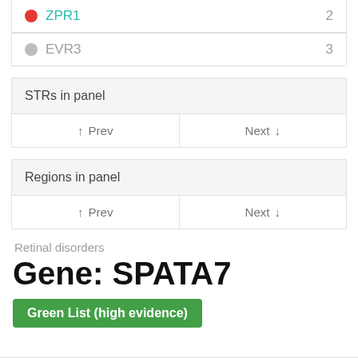ZPR1  2
EVR3  3
STRs in panel
Prev  Next
Regions in panel
Prev  Next
Retinal disorders
Gene: SPATA7
Green List (high evidence)